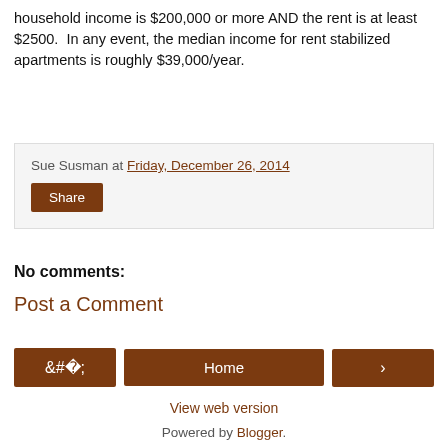household income is $200,000 or more AND the rent is at least $2500.  In any event, the median income for rent stabilized apartments is roughly $39,000/year.
Sue Susman at Friday, December 26, 2014
Share
No comments:
Post a Comment
‹  Home  ›
View web version
Powered by Blogger.